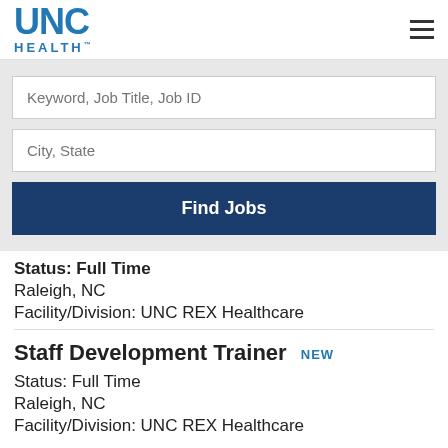[Figure (logo): UNC Health logo with blue UNC text and HEALTH below]
Keyword, Job Title, Job ID
City, State
Find Jobs
Status: Full Time
Raleigh, NC
Facility/Division: UNC REX Healthcare
Staff Development Trainer NEW
Status: Full Time
Raleigh, NC
Facility/Division: UNC REX Healthcare